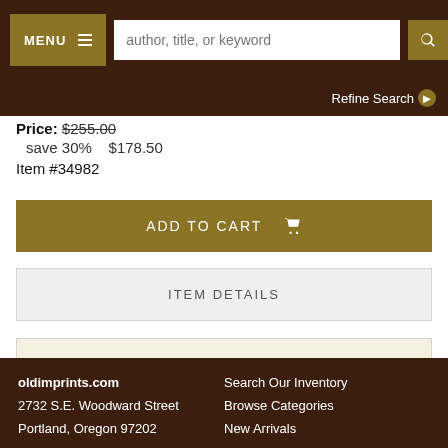MENU  author, title, or keyword  Refine Search
Price: $255.00
  save 30%   $178.50
Item #34982
ADD TO CART
ITEM DETAILS
ADD TO WISH LIST
oldimprints.com
2732 S.E. Woodward Street
Portland, Oregon 97202

Search Our Inventory
Browse Categories
New Arrivals